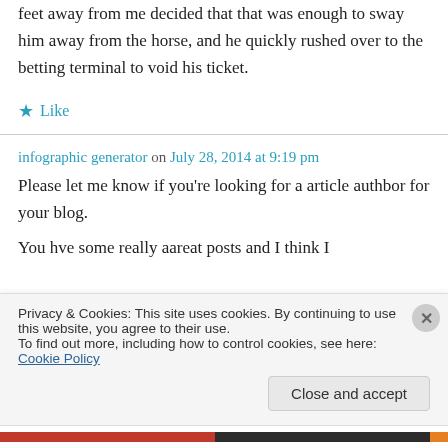feet away from me decided that that was enough to sway him away from the horse, and he quickly rushed over to the betting terminal to void his ticket.
★ Like
infographic generator on July 28, 2014 at 9:19 pm
Please let me know if you're looking for a article authbor for your blog.
You hve some really aareat posts and I think I
Privacy & Cookies: This site uses cookies. By continuing to use this website, you agree to their use.
To find out more, including how to control cookies, see here: Cookie Policy
Close and accept